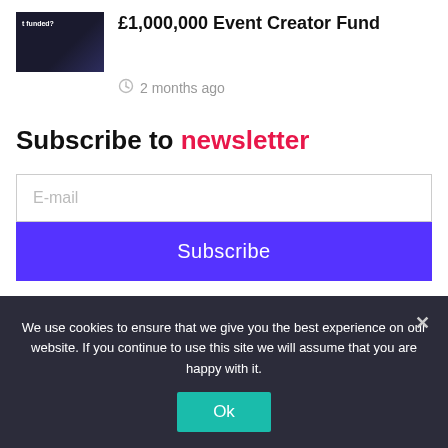[Figure (photo): Dark blue thumbnail image with text 'funded?' visible, used as article thumbnail]
£1,000,000 Event Creator Fund
2 months ago
Subscribe to newsletter
E-mail
Subscribe
We use cookies to ensure that we give you the best experience on our website. If you continue to use this site we will assume that you are happy with it.
Ok